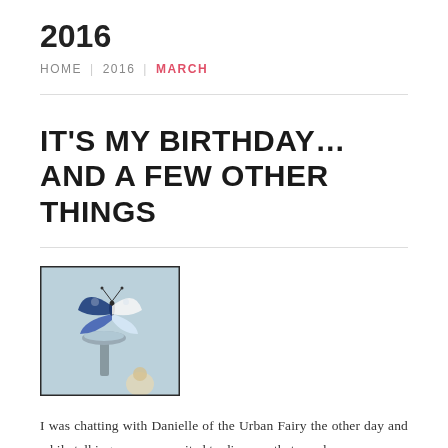2016
HOME | 2016 | MARCH
IT'S MY BIRTHDAY…AND A FEW OTHER THINGS
[Figure (illustration): A decorative illustration featuring a butterfly with blue and black wings, a bird bath or fountain, and other mixed-media elements on a light blue background.]
I was chatting with Danielle of the Urban Fairy the other day and while talking we were excited to discover that we share